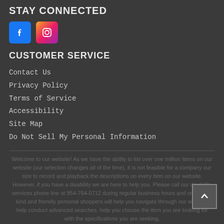STAY CONNECTED
[Figure (other): Facebook and Instagram social media icon buttons]
CUSTOMER SERVICE
Contact Us
Privacy Policy
Terms of Service
Accessibility
Site Map
Do Not Sell My Personal Information
Welcome to our website! As we have the ability to list over one million items on our website (our selection changes all of the time), it is not feasible for a company our size to record and playback the descriptions on every item on our website. However, if you have a disability we are here to help you. Please call our disability services phone line at 954-764-0712 during regular business hours and one of our kind and friendly personal shoppers will help you navigate through our website, help conduct advanced searches, help you choose the item you are looking for with the specifications you are seeking,